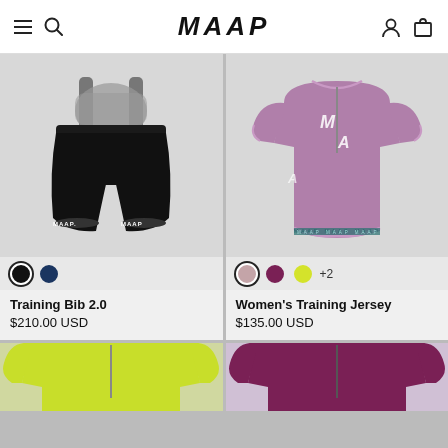MAAP
[Figure (photo): Black cycling bib shorts with grey mesh bib and MAAP branding on leg grippers, displayed flat on grey background]
[Figure (photo): Purple/mauve women's cycling jersey with MAAP logo and white trim, displayed flat on grey background]
Training Bib 2.0
$210.00 USD
Women's Training Jersey
$135.00 USD
[Figure (photo): Yellow-green cycling jersey partial view, bottom cropped]
[Figure (photo): Dark purple cycling jersey partial view, bottom cropped]